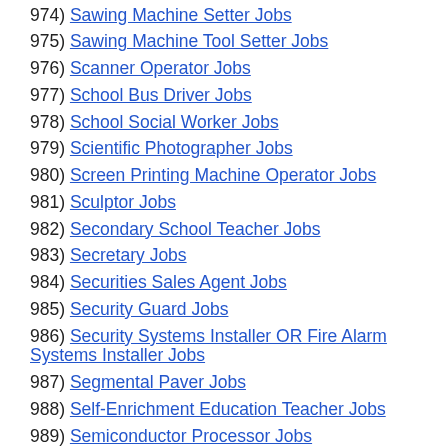974) Sawing Machine Setter Jobs
975) Sawing Machine Tool Setter Jobs
976) Scanner Operator Jobs
977) School Bus Driver Jobs
978) School Social Worker Jobs
979) Scientific Photographer Jobs
980) Screen Printing Machine Operator Jobs
981) Sculptor Jobs
982) Secondary School Teacher Jobs
983) Secretary Jobs
984) Securities Sales Agent Jobs
985) Security Guard Jobs
986) Security Systems Installer OR Fire Alarm Systems Installer Jobs
987) Segmental Paver Jobs
988) Self-Enrichment Education Teacher Jobs
989) Semiconductor Processor Jobs
990) Separating Machine Operators Jobs